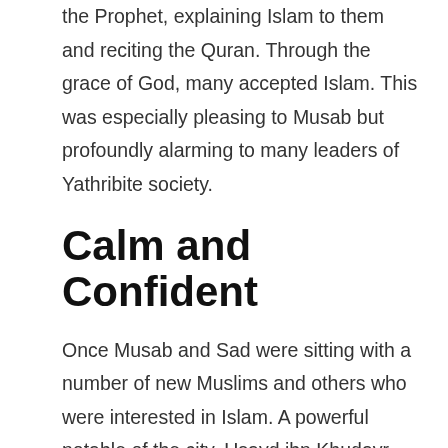the Prophet, explaining Islam to them and reciting the Quran. Through the grace of God, many accepted Islam. This was especially pleasing to Musab but profoundly alarming to many leaders of Yathribite society.
Calm and Confident
Once Musab and Sad were sitting with a number of new Muslims and others who were interested in Islam. A powerful notable of the city, Usayd ibn Khudayr, came up waving a spear. The angry Usayd shouted abuse and threatened Musab and his host. “Why have you both come to us to corrupt the weak among us? Keep away from us if you want to stay alive.” Musab smiled a warm and friendly smile